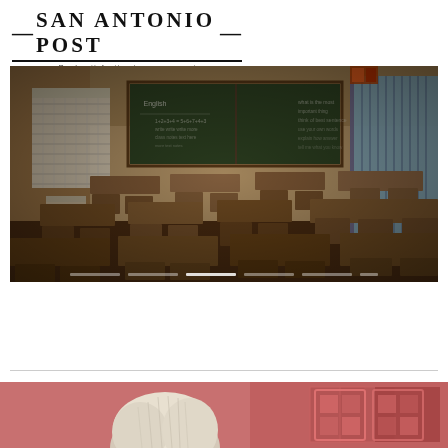—San Antonio Post— Real satisfaction in every report
[Figure (photo): Empty classroom with rows of wooden desks and chairs, a green chalkboard at the front with writing on it, educational posters on the wall, and a bright window with blue shutters on the right side]
[Figure (photo): Partial view of a person with light hair against a red background with geometric shapes]